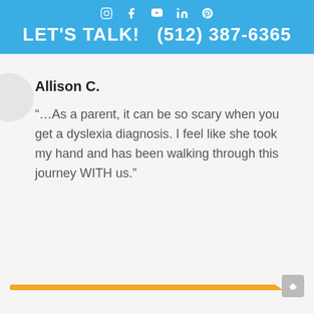LET'S TALK!   (512) 387-6365
Allison C.
“…As a parent, it can be so scary when you get a dyslexia diagnosis. I feel like she took my hand and has been walking through this journey WITH us.”